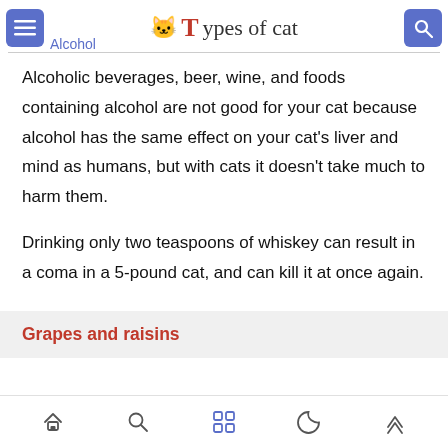Types of cat
Alcohol
Alcoholic beverages, beer, wine, and foods containing alcohol are not good for your cat because alcohol has the same effect on your cat's liver and mind as humans, but with cats it doesn't take much to harm them.
Drinking only two teaspoons of whiskey can result in a coma in a 5-pound cat, and can kill it at once again.
Grapes and raisins
navigation icons: home, search, grid, moon, up